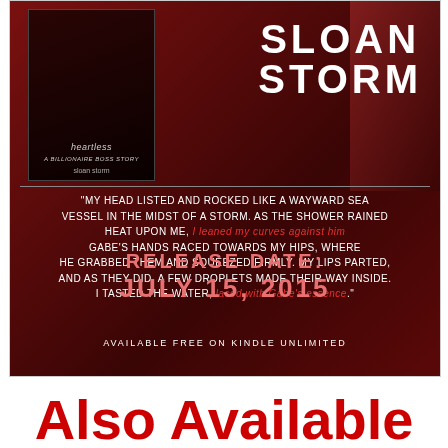[Figure (illustration): Book promotional image for Sloan Storm. Dark red/maroon background with author name 'SLOAN STORM' in large white letters top right. Small inner book cover image on top left. Excerpt quote in white and red text in the middle. Release date 'JULY 15, 2015' in pink/salmon large text. 'AVAILABLE FREE ON KINDLE UNLIMITED' at bottom.]
Also Available